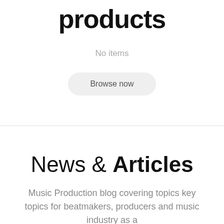products
No items
Browse now
News & Articles
Music Production blog covering topics key topics for beatmakers, producers and music industry as a